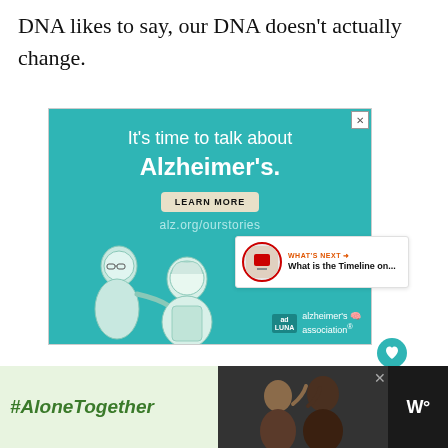DNA likes to say, our DNA doesn't actually change.
[Figure (illustration): Alzheimer's Association advertisement with teal background. Shows two illustrated elderly figures. Text reads: 'It's time to talk about Alzheimer's.' with 'LEARN MORE' button and 'alz.org/ourstories' URL. Alzheimer's Association logo at bottom right.]
[Figure (infographic): What's Next widget showing a thumbnail and text 'What is the Timeline on...']
[Figure (advertisement): Bottom banner ad with dark background. Left section has light green background with '#AloneTogether' text in green italic. Middle section shows a photo of people. Right section shows Wired logo. Close button visible.]